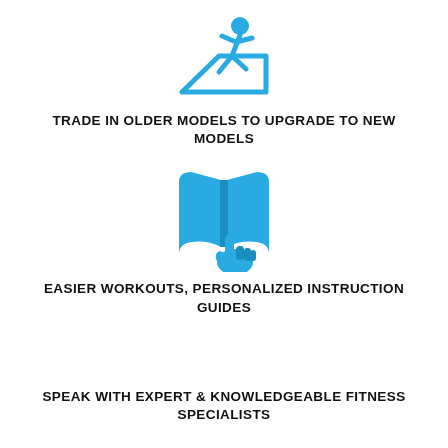[Figure (illustration): Blue icon of a person running/jumping forward, with a diagonal arrow suggesting trade-in or upgrade movement]
TRADE IN OLDER MODELS TO UPGRADE TO NEW MODELS
[Figure (illustration): Blue icon of an open book with a hand/finger pointing at it, suggesting personalized instruction guides]
EASIER WORKOUTS, PERSONALIZED INSTRUCTION GUIDES
SPEAK WITH EXPERT & KNOWLEDGEABLE FITNESS SPECIALISTS